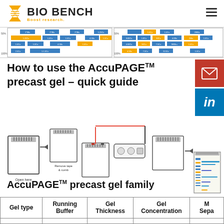BIO BENCH — Boost research.
[Figure (other): Gel electrophoresis marker lane diagram strip showing molecular weight markers at various concentrations (50%, 100%) with colored bands in blue, orange, and gold across two panel sections]
How to use the AccuPAGE™ precast gel - quick guide
[Figure (infographic): Step-by-step procedure diagram showing: gel cassette opened, remove tape & comb step, gel loaded with samples, power supply connected with red/black wires to electrophoresis chamber, arrow to result, and final gel image showing separated protein bands in blue, orange and gold colors]
AccuPAGE™ precast gel family
| Gel type | Running Buffer | Gel Thickness | Gel Concentration | M Sepa |
| --- | --- | --- | --- | --- |
|  |  |  |  |  |